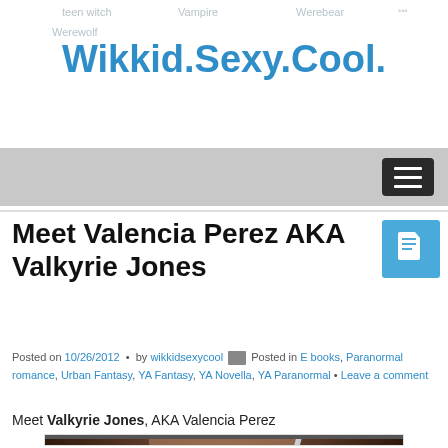Wikkid.Sexy.Cool.
Meet Valencia Perez AKA Valkyrie Jones
Posted on 10/26/2012 • by wikkidsexycool Posted in E books, Paranormal romance, Urban Fantasy, YA Fantasy, YA Novella, YA Paranormal • Leave a comment
Meet Valkyrie Jones, AKA Valencia Perez
[Figure (photo): Book cover for The Alpha Girls Series by Camille Leone, showing a young woman with a sword and magical glow]